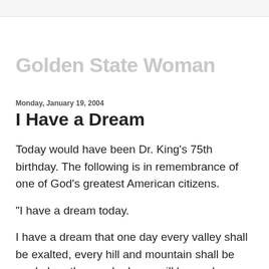Golden State Woman
Monday, January 19, 2004
I Have a Dream
Today would have been Dr. King's 75th birthday. The following is in remembrance of one of God's greatest American citizens.
"I have a dream today.
I have a dream that one day every valley shall be exalted, every hill and mountain shall be made low, the rough places will be made plains, and the crooked places will be made